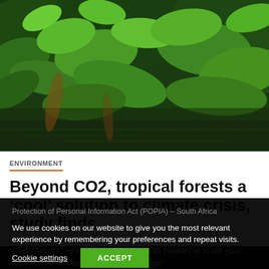[Figure (photo): Aerial/close-up view of lush tropical forest canopy with dense green leaves and foliage, water visible in background]
ENVIRONMENT
Beyond CO2, tropical forests a ‘cool’ solution to climate crisis, study finds
Protection of Personal Information Act (POPIA) – South Africa
We use cookies on our website to give you the most relevant experience by remembering your preferences and repeat visits. Click “Accept”, to consent to the use of all cookies or to set your cookie preferences click "Cookie Settings".
Cookie settings
ACCEPT